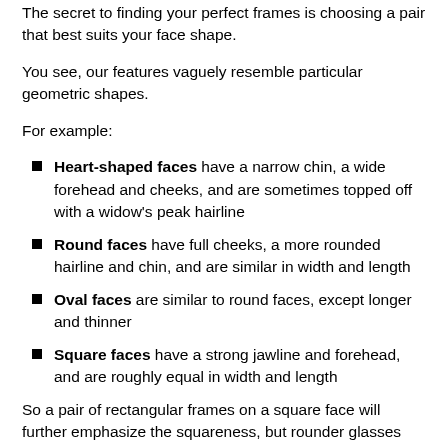The secret to finding your perfect frames is choosing a pair that best suits your face shape.
You see, our features vaguely resemble particular geometric shapes.
For example:
Heart-shaped faces have a narrow chin, a wide forehead and cheeks, and are sometimes topped off with a widow's peak hairline
Round faces have full cheeks, a more rounded hairline and chin, and are similar in width and length
Oval faces are similar to round faces, except longer and thinner
Square faces have a strong jawline and forehead, and are roughly equal in width and length
So a pair of rectangular frames on a square face will further emphasize the squareness, but rounder glasses can help